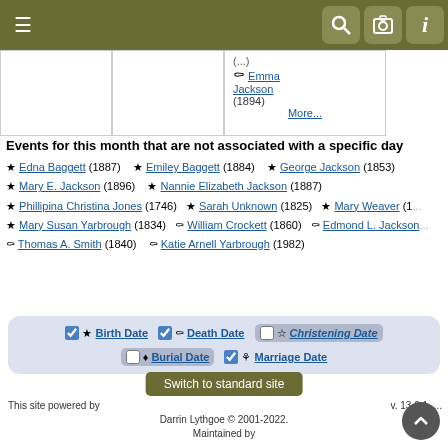Navigation header with hamburger menu and icons
[Figure (screenshot): Calendar cells showing partial content with Emma Jackson (1894) and More... link]
Events for this month that are not associated with a specific day
★ Edna Baggett (1887)   ★ Emiley Baggett (1884)   ★ George Jackson (1853)
★ Mary E. Jackson (1896)   ★ Nannie Elizabeth Jackson (1887)
★ Phillipina Christina Jones (1746)   ★ Sarah Unknown (1825)   ★ Mary Weaver (1...
★ Mary Susan Yarbrough (1834)   ⚰ William Crockett (1860)   ⚰ Edmond L. Jackson
⚰ Thomas A. Smith (1840)   ⚰ Katie Arnell Yarbrough (1982)
| Birth Date | Death Date | Christening Date | Burial Date | Marriage Date |
Switch to standard site
This site powered by   v. 13.0.1, ... 
Darrin Lythgoe © 2001-2022.
Maintained by